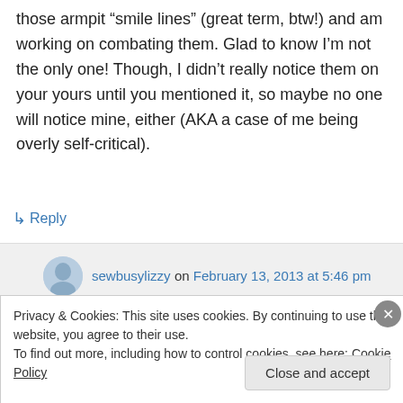those armpit “smile lines” (great term, btw!) and am working on combating them. Glad to know I’m not the only one! Though, I didn’t really notice them on your yours until you mentioned it, so maybe no one will notice mine, either (AKA a case of me being overly self-critical).
↳ Reply
sewbusylizzy on February 13, 2013 at 5:46 pm
Privacy & Cookies: This site uses cookies. By continuing to use this website, you agree to their use.
To find out more, including how to control cookies, see here: Cookie Policy
Close and accept